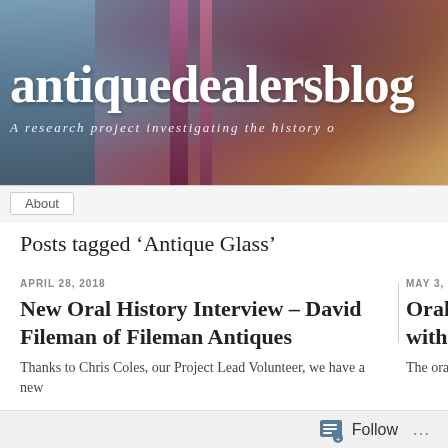[Figure (screenshot): Website header banner with blurred bookshelf background showing blue, purple, and brown tones. Contains site title 'antiquedealersblog' in large white bold text and subtitle 'A research project investigating the history o' in italic white text.]
antiquedealersblog
A research project investigating the history o
About
Posts tagged ‘Antique Glass’
APRIL 28, 2018
New Oral History Interview – David Fileman of Fileman Antiques
Thanks to Chris Coles, our Project Lead Volunteer, we have a new
MAY 3, 20
Oral with
The ora
Follow